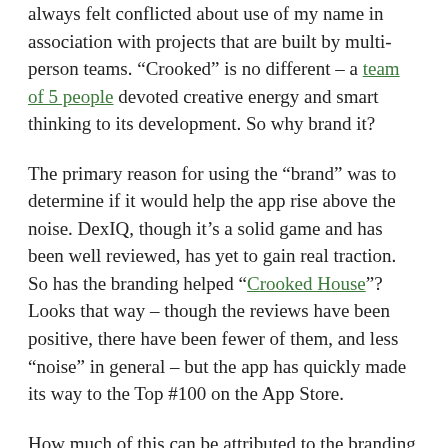always felt conflicted about use of my name in association with projects that are built by multi-person teams. “Crooked” is no different – a team of 5 people devoted creative energy and smart thinking to its development. So why brand it?
The primary reason for using the “brand” was to determine if it would help the app rise above the noise. DexIQ, though it’s a solid game and has been well reviewed, has yet to gain real traction. So has the branding helped “Crooked House”? Looks that way – though the reviews have been positive, there have been fewer of them, and less “noise” in general – but the app has quickly made its way to the Top #100 on the App Store.
How much of this can be attributed to the branding – hard to say. But it’s good to see the efforts of the Spicy Pony team being rewarded with strong sales.
If you’ve not checked out their two games, please take a moment to do so.